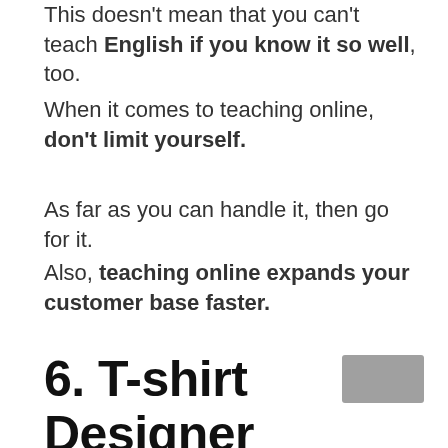This doesn't mean that you can't teach English if you know it so well, too.
When it comes to teaching online, don't limit yourself.
As far as you can handle it, then go for it.
Also, teaching online expands your customer base faster.
6. T-shirt Designer